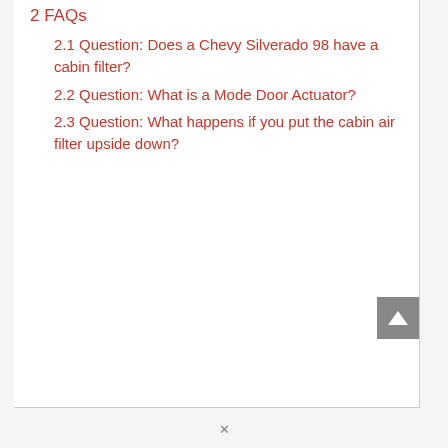2 FAQs
2.1 Question: Does a Chevy Silverado 98 have a cabin filter?
2.2 Question: What is a Mode Door Actuator?
2.3 Question: What happens if you put the cabin air filter upside down?